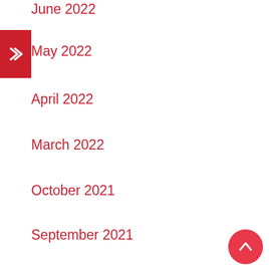June 2022
May 2022
April 2022
March 2022
October 2021
September 2021
August 2021
July 2021
June 2021
April 2021
March 2021
February 2021
December 2020